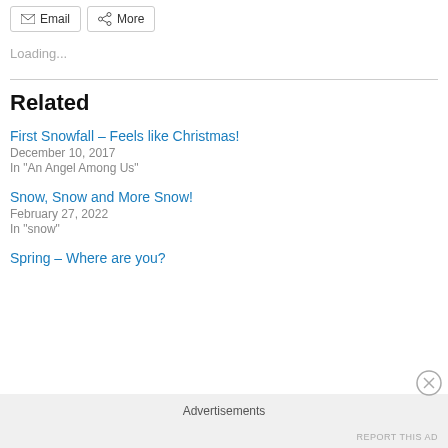[Figure (other): Row of share/action buttons: Email and More]
Loading...
Related
First Snowfall – Feels like Christmas!
December 10, 2017
In "An Angel Among Us"
Snow, Snow and More Snow!
February 27, 2022
In "snow"
Spring – Where are you?
Advertisements
REPORT THIS AD